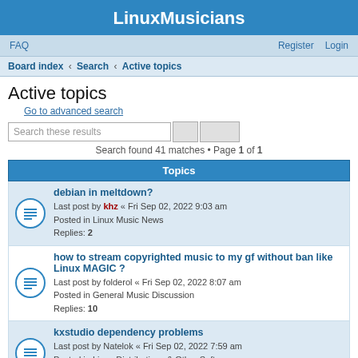LinuxMusicians
FAQ   Register   Login
Board index · Search · Active topics
Active topics
Go to advanced search
Search these results
Search found 41 matches • Page 1 of 1
Topics
debian in meltdown?
Last post by khz « Fri Sep 02, 2022 9:03 am
Posted in Linux Music News
Replies: 2
how to stream copyrighted music to my gf without ban like Linux MAGIC ?
Last post by folderol « Fri Sep 02, 2022 8:07 am
Posted in General Music Discussion
Replies: 10
kxstudio dependency problems
Last post by Natelok « Fri Sep 02, 2022 7:59 am
Posted in Linux Distributions & Other Software
Replies: 17